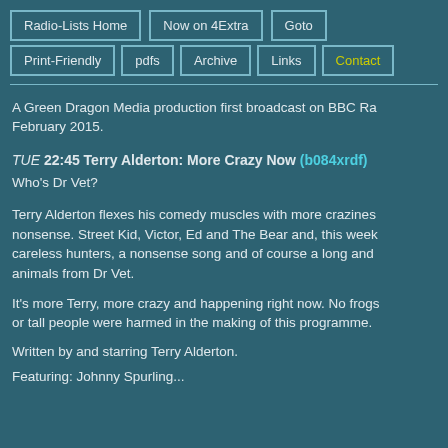Radio-Lists Home
Now on 4Extra
Goto
Print-Friendly
pdfs
Archive
Links
Contact
A Green Dragon Media production first broadcast on BBC Ra... February 2015.
TUE 22:45 Terry Alderton: More Crazy Now (b084xrdf)
Who's Dr Vet?
Terry Alderton flexes his comedy muscles with more crazines... nonsense. Street Kid, Victor, Ed and The Bear and, this week... careless hunters, a nonsense song and of course a long and... animals from Dr Vet.
It's more Terry, more crazy and happening right now. No frogs... or tall people were harmed in the making of this programme.
Written by and starring Terry Alderton.
Featuring: Johnny Spurling...